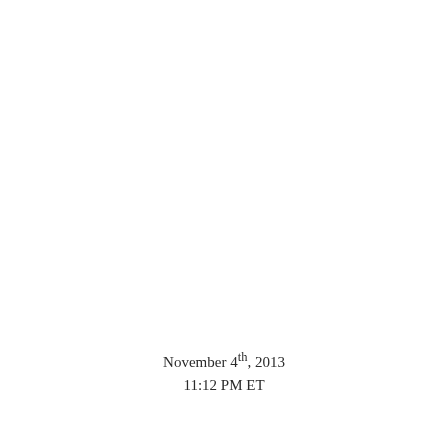November 4th, 2013
11:12 PM ET